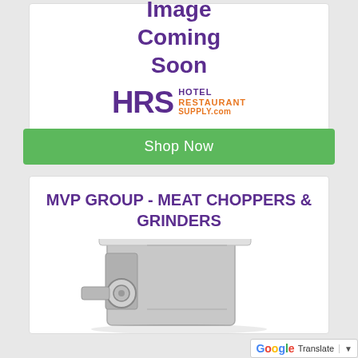[Figure (illustration): Image Coming Soon placeholder with HRS Hotel Restaurant Supply logo and a green Shop Now button]
MVP GROUP - MEAT CHOPPERS & GRINDERS
[Figure (photo): Photo of a commercial meat grinder/chopper machine in silver/grey color]
Translate